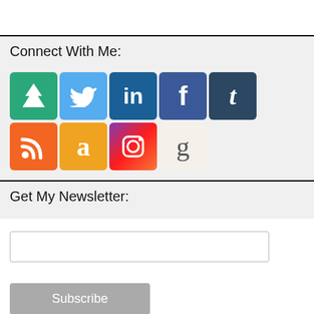Connect With Me:
[Figure (infographic): Social media icons in two rows: row 1 has AllRecipes (green double-tree), Twitter (blue bird), LinkedIn (blue 'in'), Facebook (dark blue 'f'), Tumblr (dark blue 't'); row 2 has RSS (orange RSS symbol), Amazon (orange 'a'), Instagram (gradient camera), Goodreads (beige 'g')]
Get My Newsletter:
[Figure (screenshot): Email subscription form with a text input box for email address, a grey Subscribe button, and a 'made with mailchimp' badge at the bottom right. A grey scroll-to-top button with up arrow is in the bottom right corner.]